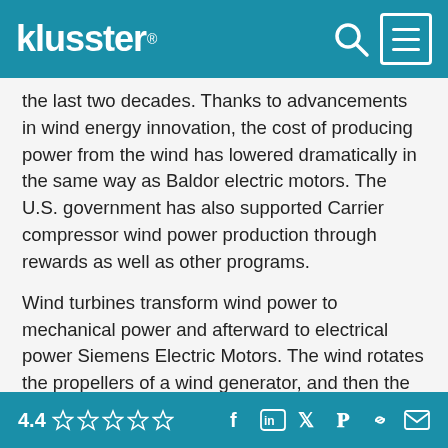klusster®
the last two decades. Thanks to advancements in wind energy innovation, the cost of producing power from the wind has lowered dramatically in the same way as Baldor electric motors. The U.S. government has also supported Carrier compressor wind power production through rewards as well as other programs.
Wind turbines transform wind power to mechanical power and afterward to electrical power Siemens Electric Motors. The wind rotates the propellers of a wind generator, and then the props create the blades-- which have a main shaft connected to a generator Carrier compressor to spin. Mechanical power streams right into the generator, which converts the power Siemens Electric Motors into
4.4 ☆☆☆☆☆